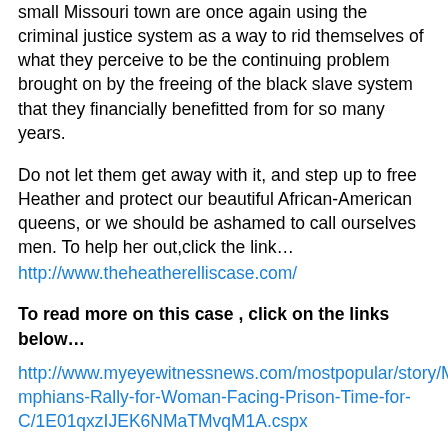small Missouri town are once again using the criminal justice system as a way to rid themselves of what they perceive to be the continuing problem brought on by the freeing of the black slave system that they financially benefitted from for so many years.
Do not let them get away with it, and step up to free Heather and protect our beautiful African-American queens, or we should be ashamed to call ourselves men. To help her out,click the link… http://www.theheatherelliscase.com/
To read more on this case , click on the links below…
http://www.myeyewitnessnews.com/mostpopular/story/Memphians-Rally-for-Woman-Facing-Prison-Time-for-C/1E01qxzIJEK6NMaTMvqM1A.cspx